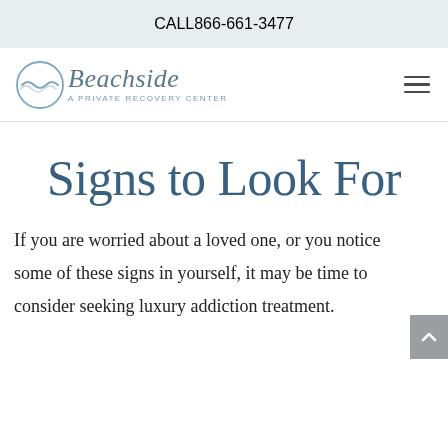CALL 866-661-3477
[Figure (logo): Beachside - A Private Recovery Center logo with circular wave icon in light blue and italic serif text]
Signs to Look For
If you are worried about a loved one, or you notice some of these signs in yourself, it may be time to consider seeking luxury addiction treatment.